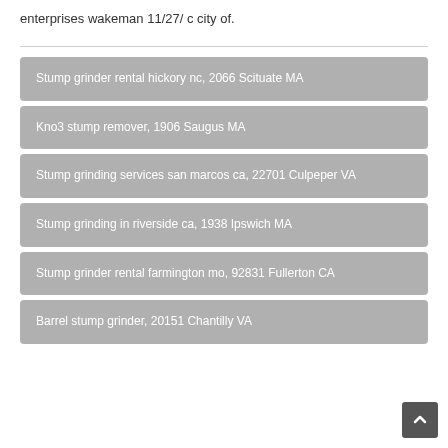enterprises wakeman 11/27/ c city of.
Stump grinder rental hickory nc, 2066 Scituate MA
Kno3 stump remover, 1906 Saugus MA
Stump grinding services san marcos ca, 22701 Culpeper VA
Stump grinding in riverside ca, 1938 Ipswich MA
Stump grinder rental farmington mo, 92831 Fullerton CA
Barrel stump grinder, 20151 Chantilly VA